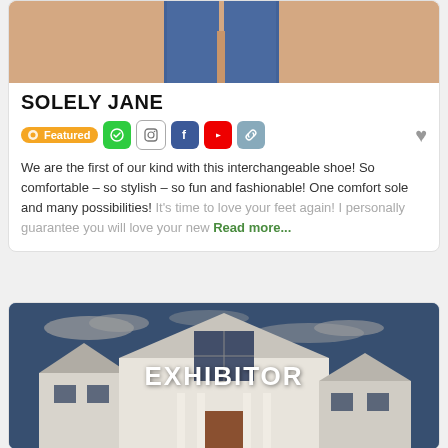[Figure (photo): Bottom portion of a person wearing jeans, shown from the waist down with a peach/tan background]
SOLELY JANE
Featured (badge) with social media icons: Instagram, Facebook, YouTube, link
We are the first of our kind with this interchangeable shoe! So comfortable – so stylish – so fun and fashionable! One comfort sole and many possibilities! It's time to love your feet again! I personally guarantee you will love your new Read more...
[Figure (photo): House exterior photo with blue sky background, showing a large white colonial-style home. Text overlay says EXHIBITOR in large white bold letters.]